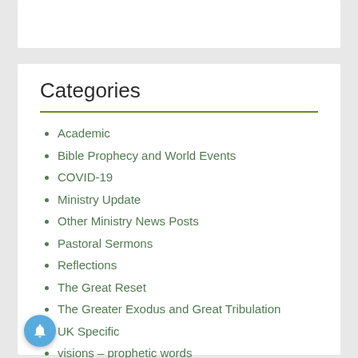Categories
Academic
Bible Prophecy and World Events
COVID-19
Ministry Update
Other Ministry News Posts
Pastoral Sermons
Reflections
The Great Reset
The Greater Exodus and Great Tribulation
UK Specific
visions – prophetic words